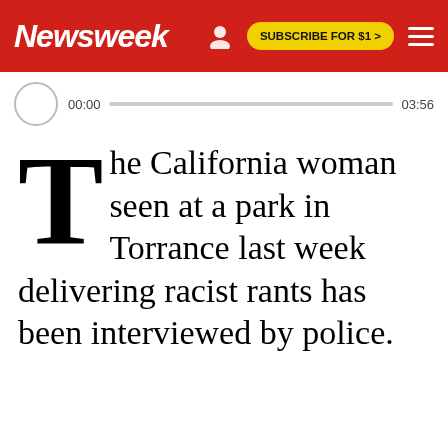Newsweek | SUBSCRIBE FOR $1 >
[Figure (screenshot): Audio player with play button circle, timestamp 00:00, progress bar, and end time 03:56]
The California woman seen at a park in Torrance last week delivering racist rants has been interviewed by police.